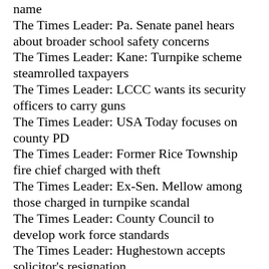name
The Times Leader: Pa. Senate panel hears about broader school safety concerns
The Times Leader: Kane: Turnpike scheme steamrolled taxpayers
The Times Leader: LCCC wants its security officers to carry guns
The Times Leader: USA Today focuses on county PD
The Times Leader: Former Rice Township fire chief charged with theft
The Times Leader: Ex-Sen. Mellow among those charged in turnpike scandal
The Times Leader: County Council to develop work force standards
The Times Leader: Hughestown accepts solicitor's resignation
News Item: Shamokin bills county for $1,220